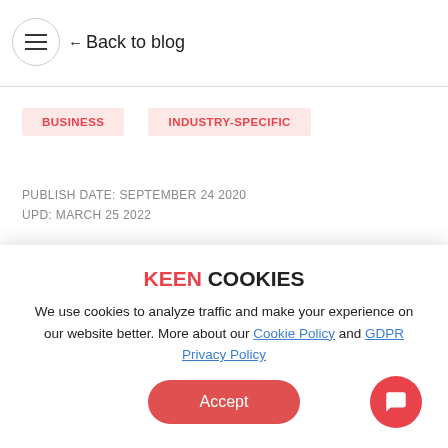← Back to blog
BUSINESS | INDUSTRY-SPECIFIC
PUBLISH DATE: SEPTEMBER 24 2020
UPD: MARCH 25 2022
KEEN COOKIES
We use cookies to analyze traffic and make your experience on our website better. More about our Cookie Policy and GDPR Privacy Policy
Accept